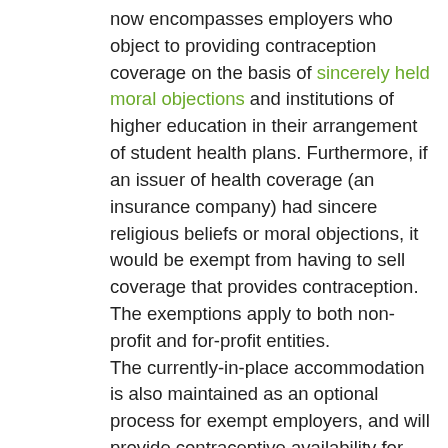now encompasses employers who object to providing contraception coverage on the basis of sincerely held moral objections and institutions of higher education in their arrangement of student health plans. Furthermore, if an issuer of health coverage (an insurance company) had sincere religious beliefs or moral objections, it would be exempt from having to sell coverage that provides contraception. The exemptions apply to both non-profit and for-profit entities. The currently-in-place accommodation is also maintained as an optional process for exempt employers, and will provide contraceptive availability for persons covered by the plans of entities that use it (a legitimate program purpose). These rules leave in place the government's discretion to continue to require contraceptive and sterilization coverage where no such objection exists. These interim final rules also maintain the existence of an accommodation process, but consistent with expansion of the exemption, the process is optional for eligible